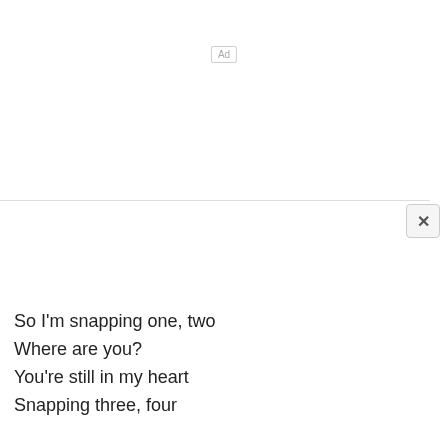[Figure (other): Ad label box with text 'Ad']
[Figure (other): Horizontal divider line with X close button on right side, forming a popup/overlay UI chrome element]
So I'm snapping one, two
Where are you?
You're still in my heart
Snapping three, four